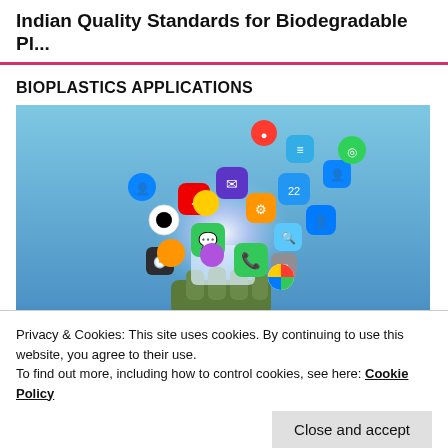Indian Quality Standards for Biodegradable Pl...
BIOPLASTICS APPLICATIONS
[Figure (photo): Colorful smartphone app icons floating out of a glowing sphere held by a hand, on a blue background]
Privacy & Cookies: This site uses cookies. By continuing to use this website, you agree to their use.
To find out more, including how to control cookies, see here: Cookie Policy
Close and accept
[Figure (photo): Podcast banner with a vintage microphone silhouette and sound wave bars on an orange-to-pink gradient background with the word PODCASTS]